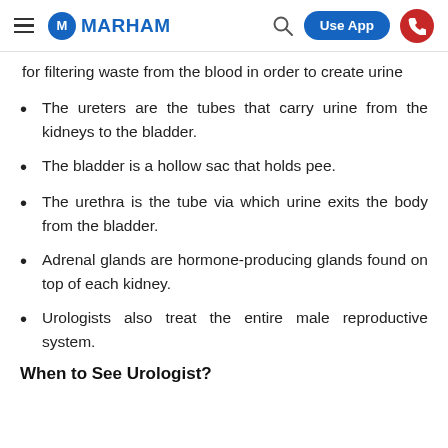MARHAM — Use App
for filtering waste from the blood in order to create urine
The ureters are the tubes that carry urine from the kidneys to the bladder.
The bladder is a hollow sac that holds pee.
The urethra is the tube via which urine exits the body from the bladder.
Adrenal glands are hormone-producing glands found on top of each kidney.
Urologists also treat the entire male reproductive system.
When to See Urologist?